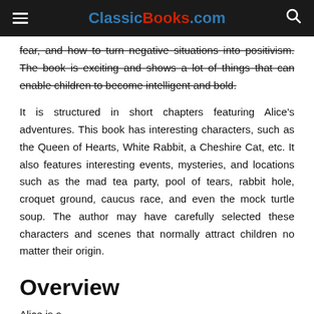ClassicBooks.com
fear, and how to turn negative situations into positivism. The book is exciting and shows a lot of things that can enable children to become intelligent and bold.
It is structured in short chapters featuring Alice's adventures. This book has interesting characters, such as the Queen of Hearts, White Rabbit, a Cheshire Cat, etc. It also features interesting events, mysteries, and locations such as the mad tea party, pool of tears, rabbit hole, croquet ground, caucus race, and even the mock turtle soup. The author may have carefully selected these characters and scenes that normally attract children no matter their origin.
Overview
Alice is a...